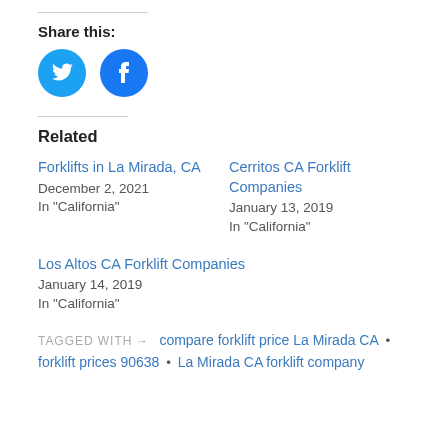Share this:
[Figure (illustration): Two circular social media buttons: Twitter (blue with bird icon) and Facebook (blue with f icon)]
Related
Forklifts in La Mirada, CA
December 2, 2021
In "California"
Cerritos CA Forklift Companies
January 13, 2019
In "California"
Los Altos CA Forklift Companies
January 14, 2019
In "California"
TAGGED WITH → compare forklift price La Mirada CA • forklift prices 90638 • La Mirada CA forklift company